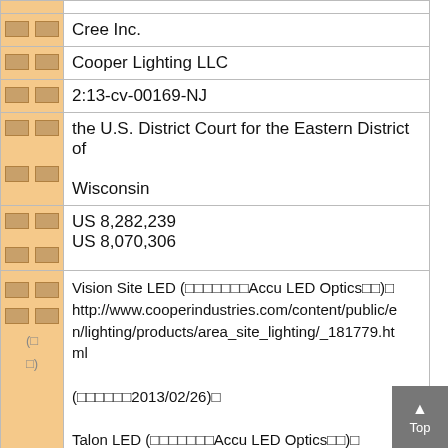|  |  |
| --- | --- |
| □□ | Cree Inc. |
| □□ | Cooper Lighting LLC |
| □□ | 2:13-cv-00169-NJ |
| □□
□□ | the U.S. District Court for the Eastern District of
Wisconsin |
| □□
□□ | US 8,282,239
US 8,070,306 |
| □□
□□
(□
□) | Vision Site LED (□□□□□□□Accu LED Optics□□)□
http://www.cooperindustries.com/content/public/en/lighting/products/area_site_lighting/_181779.html
(□□□□□□2013/02/26)□
Talon LED (□□□□□□□Accu LED Optics□□)□
http://www.cooperindustries.com/content/public/e |